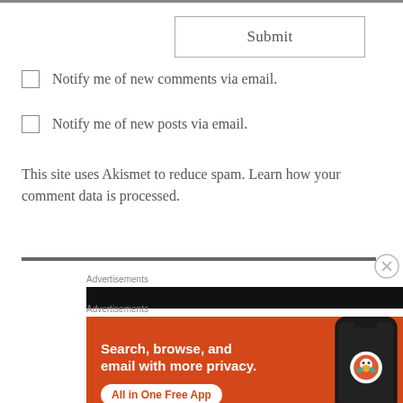[Figure (screenshot): Submit button — a rectangular button with border and 'Submit' text, gray colored]
Notify me of new comments via email.
Notify me of new posts via email.
This site uses Akismet to reduce spam. Learn how your comment data is processed.
[Figure (screenshot): Advertisements label and black bar ad placeholder]
[Figure (screenshot): DuckDuckGo advertisement banner: 'Search, browse, and email with more privacy. All in One Free App' with phone mockup showing DuckDuckGo app icon]